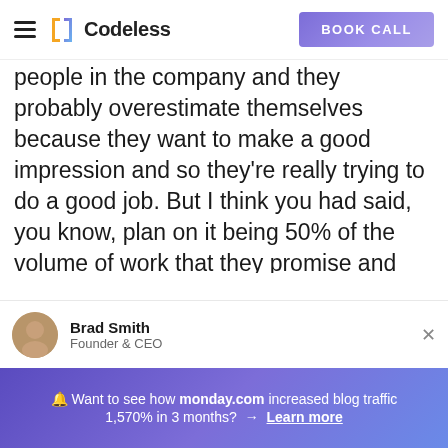Codeless | BOOK CALL
people in the company and they probably overestimate themselves because they want to make a good impression and so they're really trying to do a good job. But I think you had said, you know, plan on it being 50% of the volume of work that they promise and usually taking two to three times longer.
Brad Smith
Founder & CEO
🔔 Want to see how monday.com increased blog traffic 1,570% in 3 months? → Learn more